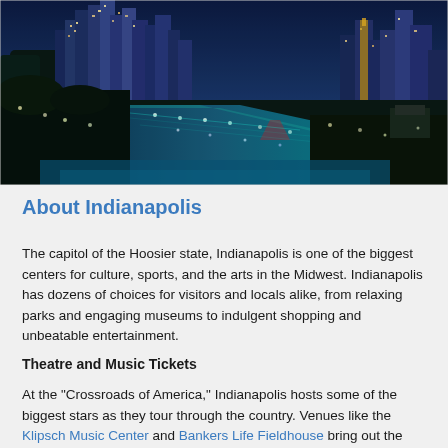[Figure (photo): Nighttime aerial view of Indianapolis city skyline with illuminated canal waterway in the foreground, colorful reflections in the water, urban buildings lit up in the background]
About Indianapolis
The capitol of the Hoosier state, Indianapolis is one of the biggest centers for culture, sports, and the arts in the Midwest. Indianapolis has dozens of choices for visitors and locals alike, from relaxing parks and engaging museums to indulgent shopping and unbeatable entertainment.
Theatre and Music Tickets
At the "Crossroads of America," Indianapolis hosts some of the biggest stars as they tour through the country. Venues like the Klipsch Music Center and Bankers Life Fieldhouse bring out the superstars in spectacle, everyone from the Dixie Chicks to Justin